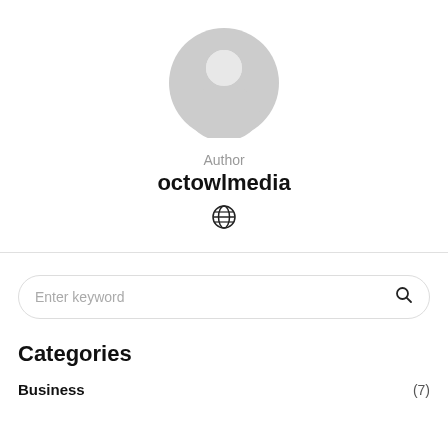[Figure (illustration): Default gray avatar/profile icon — circular silhouette of a person (head and shoulders) in light gray]
Author
octowlmedia
[Figure (other): Globe/web icon — outline of a globe with latitude and longitude lines]
Enter keyword
Categories
Business (7)